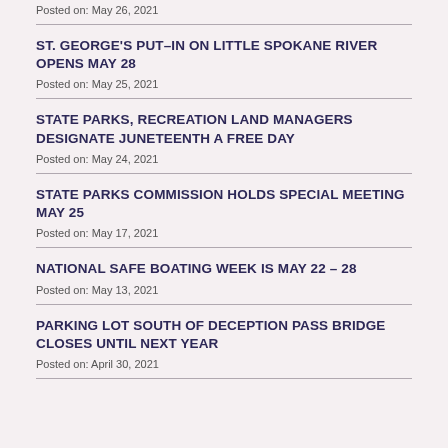Posted on: May 26, 2021
ST. GEORGE'S PUT-IN ON LITTLE SPOKANE RIVER OPENS MAY 28
Posted on: May 25, 2021
STATE PARKS, RECREATION LAND MANAGERS DESIGNATE JUNETEENTH A FREE DAY
Posted on: May 24, 2021
STATE PARKS COMMISSION HOLDS SPECIAL MEETING MAY 25
Posted on: May 17, 2021
NATIONAL SAFE BOATING WEEK IS MAY 22 – 28
Posted on: May 13, 2021
PARKING LOT SOUTH OF DECEPTION PASS BRIDGE CLOSES UNTIL NEXT YEAR
Posted on: April 30, 2021